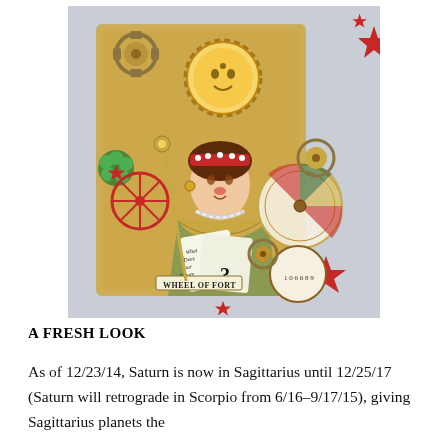[Figure (illustration): A collage-style mixed media illustration featuring a Victorian-era fortune teller woman holding an open book reading 'What Does Your Future Hold?' with a question mark. She wears a decorated headband and pearl necklace. Surrounding her are gears, clock faces, a sun face, a Wheel of Fortune banner, red star decorations, and various mystical/steampunk elements on a light blue-grey background.]
A FRESH LOOK
As of 12/23/14, Saturn is now in Sagittarius until 12/25/17 (Saturn will retrograde in Scorpio from 6/16–9/17/15), giving Sagittarius planets the